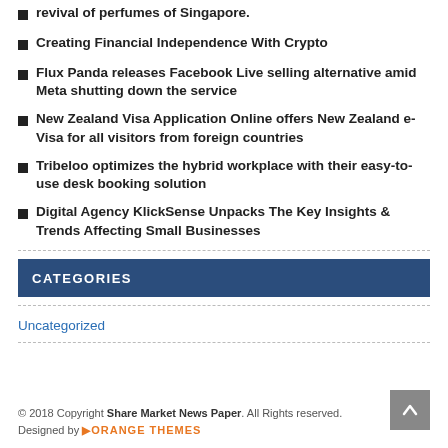revival of perfumes of Singapore.
Creating Financial Independence With Crypto
Flux Panda releases Facebook Live selling alternative amid Meta shutting down the service
New Zealand Visa Application Online offers New Zealand e-Visa for all visitors from foreign countries
Tribeloo optimizes the hybrid workplace with their easy-to-use desk booking solution
Digital Agency KlickSense Unpacks The Key Insights & Trends Affecting Small Businesses
CATEGORIES
Uncategorized
© 2018 Copyright Share Market News Paper. All Rights reserved. Designed by ORANGE THEMES